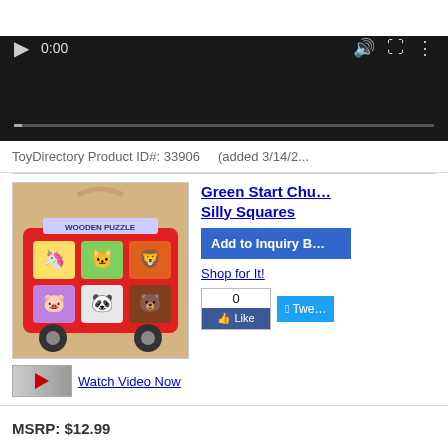[Figure (screenshot): Video player with dark background showing 0:00 timestamp and playback controls]
ToyDirectory Product ID#: 33906    (added 3/14/2...
[Figure (photo): Green Start Chunky Wooden Puzzle - Silly Squares product image showing a bus with cartoon animal puzzle pieces]
Watch Video Now
Green Start Chunky Silly Squares
Add to Inquiry B...
Shop for It!
0 Like
Twe...
MSRP: $12.99
Age Range: 1 and up
Specialty: Yes (as of 2012)
Gender: Boys And Girls
Category: Puzzles & Skill
Eco-Friendly